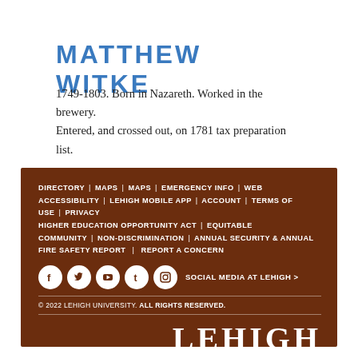MATTHEW WITKE
1749-1803. Born in Nazareth. Worked in the brewery.
Entered, and crossed out, on 1781 tax preparation list.
DIRECTORY | MAPS | MAPS | EMERGENCY INFO | WEB ACCESSIBILITY | LEHIGH MOBILE APP | ACCOUNT | TERMS OF USE | PRIVACY
HIGHER EDUCATION OPPORTUNITY ACT | EQUITABLE COMMUNITY | NON-DISCRIMINATION | ANNUAL SECURITY & ANNUAL FIRE SAFETY REPORT | REPORT A CONCERN
SOCIAL MEDIA AT LEHIGH >
© 2022 LEHIGH UNIVERSITY. ALL RIGHTS RESERVED.
LEHIGH UNIVERSITY